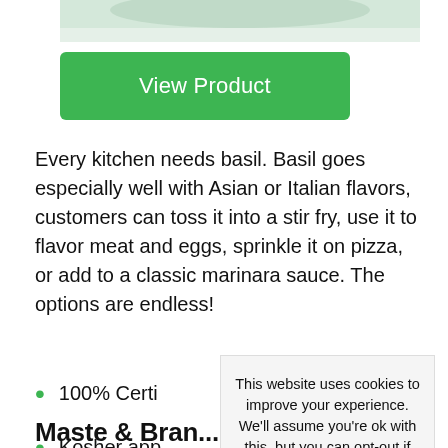[Figure (photo): Partial product image at top of page (cropped, showing herb/spice product)]
View Product
Every kitchen needs basil. Basil goes especially well with Asian or Italian flavors, customers can toss it into a stir fry, use it to flavor meat and eggs, sprinkle it on pizza, or add to a classic marinara sauce. The options are endless!
100% Certi...
Kosher app...
This produ... can stand o...
This website uses cookies to improve your experience. We'll assume you're ok with this, but you can opt-out if you wish. Accept Reject Read More
Maste & Bran...